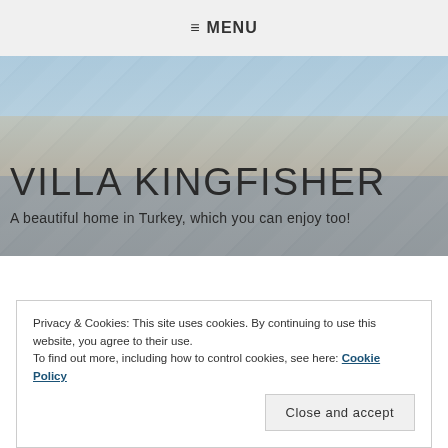≡ MENU
[Figure (photo): Hero banner photo showing a villa outdoor area in Turkey with colorful decorations, a champagne bottle, and fabric canopies overhead. Semi-transparent overlay.]
VILLA KINGFISHER
A beautiful home in Turkey, which you can enjoy too!
Privacy & Cookies: This site uses cookies. By continuing to use this website, you agree to their use.
To find out more, including how to control cookies, see here: Cookie Policy
Close and accept